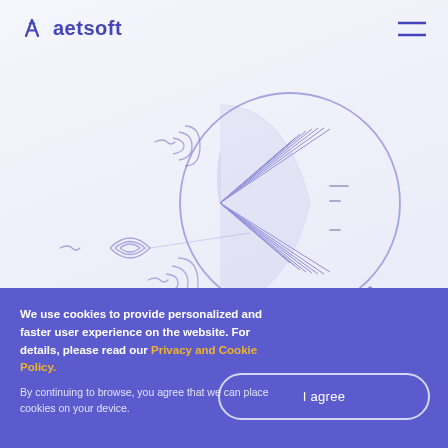[Figure (logo): Aetsoft logo with stylized A icon and text 'aetsoft' in blue/purple color]
[Figure (illustration): Abstract line art illustration showing concentric arc shapes and a large magnifying glass with radiating lines, in light blue/purple tones on white background]
We use cookies to provide personalized and faster user experience on the website. For details, please read our Privacy and Cookie Policy. By continuing to browse, you agree that we can place cookies on your device.